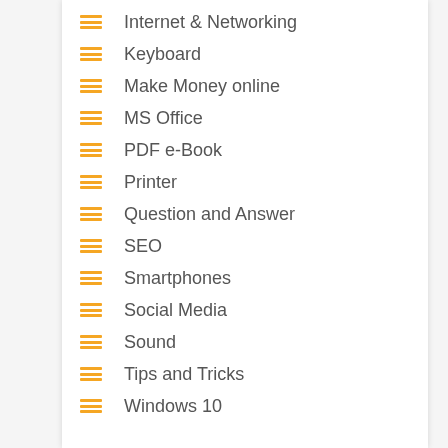Internet & Networking
Keyboard
Make Money online
MS Office
PDF e-Book
Printer
Question and Answer
SEO
Smartphones
Social Media
Sound
Tips and Tricks
Windows 10